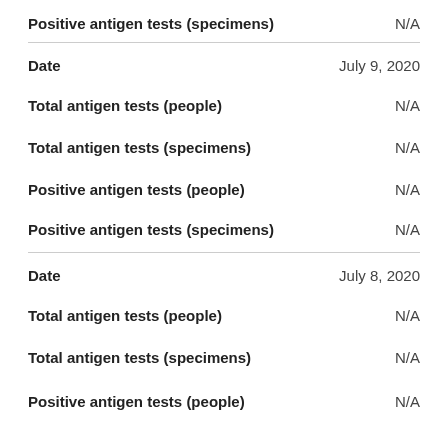| Field | Value |
| --- | --- |
| Positive antigen tests (specimens) | N/A |
| Date | July 9, 2020 |
| Total antigen tests (people) | N/A |
| Total antigen tests (specimens) | N/A |
| Positive antigen tests (people) | N/A |
| Positive antigen tests (specimens) | N/A |
| Date | July 8, 2020 |
| Total antigen tests (people) | N/A |
| Total antigen tests (specimens) | N/A |
| Positive antigen tests (people) | N/A |